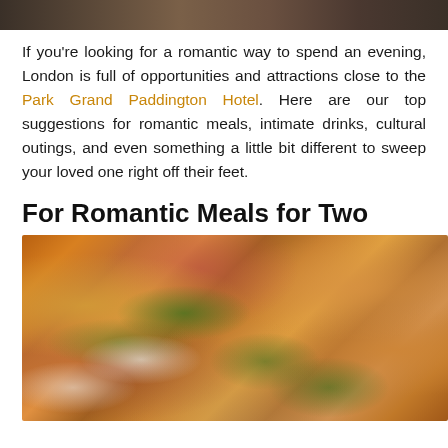[Figure (photo): Top portion of a photo, likely people in a romantic setting, cropped at top of page]
If you're looking for a romantic way to spend an evening, London is full of opportunities and attractions close to the Park Grand Paddington Hotel. Here are our top suggestions for romantic meals, intimate drinks, cultural outings, and even something a little bit different to sweep your loved one right off their feet.
For Romantic Meals for Two
[Figure (photo): Photo of bruschetta or crostini topped with smoked salmon, arugula, shaved parmesan, and various toppings on toasted bread slices]